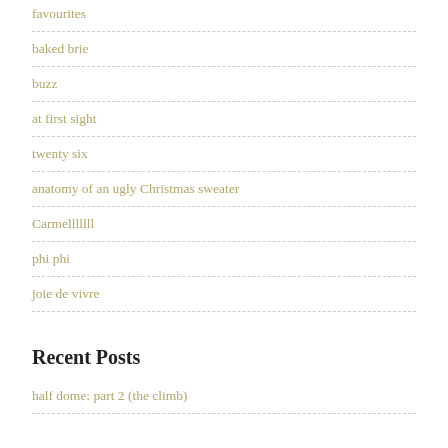favourites
baked brie
buzz
at first sight
twenty six
anatomy of an ugly Christmas sweater
Carmelllllll
phi phi
joie de vivre
Recent Posts
half dome: part 2 (the climb)